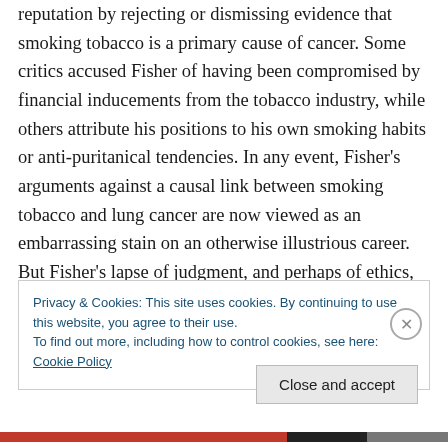reputation by rejecting or dismissing evidence that smoking tobacco is a primary cause of cancer. Some critics accused Fisher of having been compromised by financial inducements from the tobacco industry, while others attribute his positions to his own smoking habits or anti-puritanical tendencies. In any event, Fisher's arguments against a causal link between smoking tobacco and lung cancer are now viewed as an embarrassing stain on an otherwise illustrious career. But Fisher's lapse of judgment, and perhaps of ethics, don't justify accusing him of opposition to science. Climate-change deniers don't
Privacy & Cookies: This site uses cookies. By continuing to use this website, you agree to their use.
To find out more, including how to control cookies, see here: Cookie Policy
Close and accept